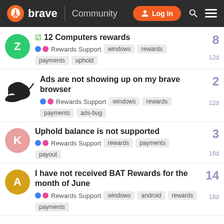brave Community | Log In
12 Computers rewards | Rewards Support | windows, rewards, payments, uphold | 8 replies | 12d
Ads are not showing up on my brave browser | Rewards Support | windows, rewards, payments, ads-bug | 2 replies | 12d
Uphold balance is not supported | Rewards Support | rewards, payments, payout | 3 replies | 16d
I have not received BAT Rewards for the month of June | Rewards Support | windows, android, rewards, payments | 14 replies | 16d